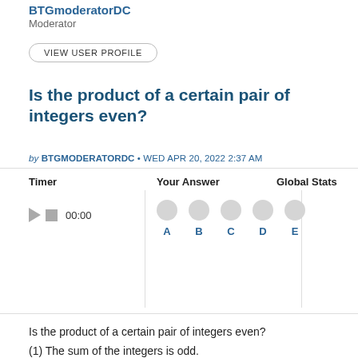BTGmoderatorDC
Moderator
VIEW USER PROFILE
Is the product of a certain pair of integers even?
by BTGMODERATORDC • WED APR 20, 2022 2:37 AM
Timer
Your Answer
Global Stats
00:00
A  B  C  D  E
Is the product of a certain pair of integers even?
(1) The sum of the integers is odd.